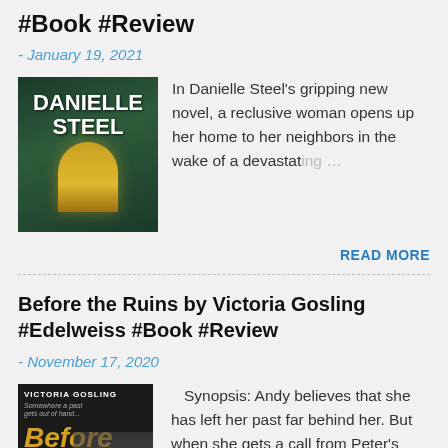#Book #Review
- January 19, 2021
[Figure (illustration): Danielle Steel book cover with gold arch and green foliage]
In Danielle Steel's gripping new novel, a reclusive woman opens up her home to her neighbors in the wake of a devastating …
READ MORE
Before the Ruins by Victoria Gosling #Edelweiss #Book #Review
- November 17, 2020
[Figure (illustration): Before the Ruins by Victoria Gosling book cover with dark background and gold title text]
Synopsis: Andy believes that she has left her past far behind her. But when she gets a call from Peter's mother to say he's gone missi…
READ MORE